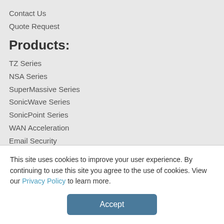Contact Us
Quote Request
Products:
TZ Series
NSA Series
SuperMassive Series
SonicWave Series
SonicPoint Series
WAN Acceleration
Email Security
View all Products
Resources:
This site uses cookies to improve your user experience. By continuing to use this site you agree to the use of cookies. View our Privacy Policy to learn more.
Accept